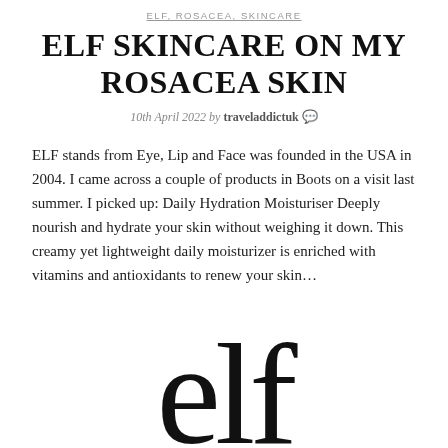ELF, ROSACEA, SKINCARE
ELF SKINCARE ON MY ROSACEA SKIN
10th April 2022 by traveladdictuk 💬
ELF stands from Eye, Lip and Face was founded in the USA in 2004. I came across a couple of products in Boots on a visit last summer. I picked up: Daily Hydration Moisturiser Deeply nourish and hydrate your skin without weighing it down. This creamy yet lightweight daily moisturizer is enriched with vitamins and antioxidants to renew your skin…
[Figure (logo): e.l.f. brand logo displayed in large lowercase serif letters 'elf']